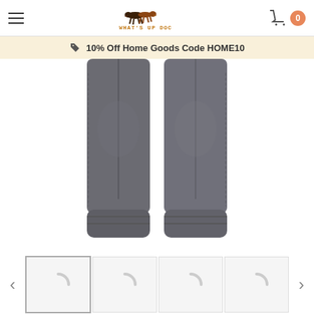Hamburger menu | What's Up Doc logo | Cart (0)
10% Off Home Goods Code HOME10
[Figure (photo): Close-up photo of grey jogger sweatpants showing the lower legs and cuffed ankles, product image on white background]
[Figure (photo): Thumbnail strip showing four product image thumbnails with left and right navigation arrows, images loading (spinners visible)]